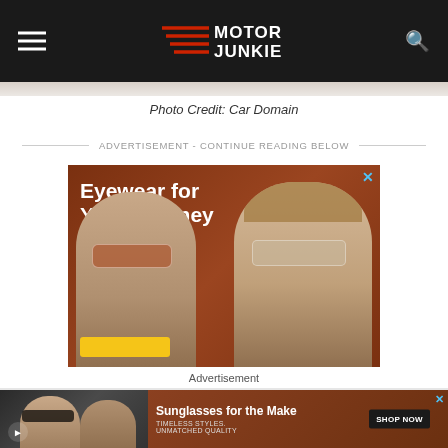Motor Junkie
[Figure (photo): Thin image strip of a car at the top below the navigation bar]
Photo Credit: Car Domain
ADVERTISEMENT - CONTINUE READING BELOW
[Figure (photo): Advertisement for eyewear showing two women wearing sunglasses on an orange/brown background. Text reads: Eyewear for Your Journey. TIMELESS STYLES, UNMATCHED QUALITY. Yellow button at bottom. Blue X close button in top right.]
Advertisement
[Figure (photo): Bottom advertisement banner showing a woman wearing sunglasses on left and text 'Sunglasses for the Make' with 'TIMELESS STYLES. UNMATCHED QUALITY' and a SHOP NOW button on a brown background. Blue X close button.]